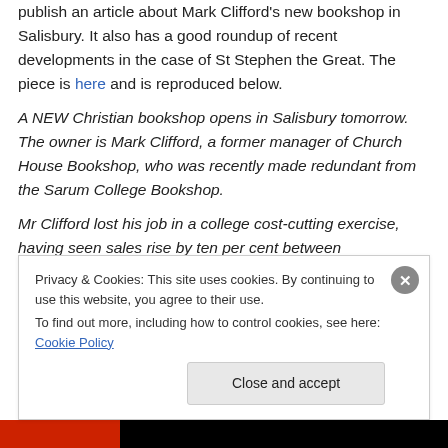publish an article about Mark Clifford's new bookshop in Salisbury. It also has a good roundup of recent developments in the case of St Stephen the Great. The piece is here and is reproduced below.
A NEW Christian bookshop opens in Salisbury tomorrow. The owner is Mark Clifford, a former manager of Church House Bookshop, who was recently made redundant from the Sarum College Bookshop.
Mr Clifford lost his job in a college cost-cutting exercise, having seen sales rise by ten per cent between
Privacy & Cookies: This site uses cookies. By continuing to use this website, you agree to their use. To find out more, including how to control cookies, see here: Cookie Policy
Close and accept